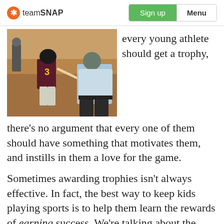teamSNAP | Sign up | Menu
[Figure (photo): Young baseball player wearing number 3 jersey swinging a bat at a pitch, with an umpire crouching behind in a baseball field setting.]
every young athlete should get a trophy, there’s no argument that every one of them should have something that motivates them, and instills in them a love for the game.
Sometimes awarding trophies isn’t always effective. In fact, the best way to keep kids playing sports is to help them learn the rewards of earning success. We’re talking about the kind that involves training, persistence—and often a struggle. When kids sweat